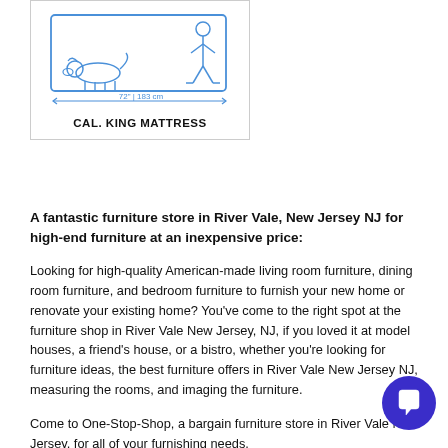[Figure (illustration): Diagram showing a California King Mattress with a person lying on it and a dog at the foot. Dimensions shown: 72" | 183 cm width. Below the illustration is the label 'CAL. KING MATTRESS'.]
A fantastic furniture store in River Vale, New Jersey NJ for high-end furniture at an inexpensive price:
Looking for high-quality American-made living room furniture, dining room furniture, and bedroom furniture to furnish your new home or renovate your existing home? You've come to the right spot at the furniture shop in River Vale New Jersey, NJ, if you loved it at model houses, a friend's house, or a bistro, whether you're looking for furniture ideas, the best furniture offers in River Vale New Jersey NJ, measuring the rooms, and imaging the furniture.
Come to One-Stop-Shop, a bargain furniture store in River Vale New Jersey, for all of your furnishing needs.
We offer high-quality American-made furniture deals in River Vale